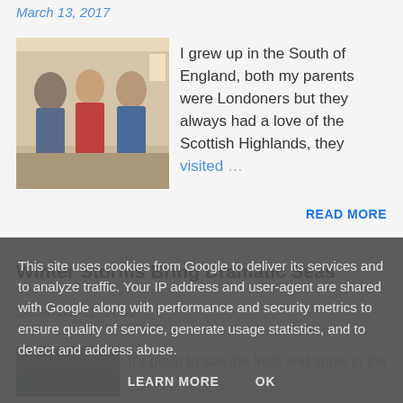March 13, 2017
[Figure (photo): Old family photograph showing three people standing together, likely from the 1970s or 1980s]
I grew up in the South of England, both my parents were Londoners but they always had a love of the Scottish Highlands, they visited …
READ MORE
Winter Storms Bring Dramatic Seas
December 12, 2016
[Figure (photo): Partially visible thumbnail image for the Winter Storms article]
It's great to see the frost and snow in the
This site uses cookies from Google to deliver its services and to analyze traffic. Your IP address and user-agent are shared with Google along with performance and security metrics to ensure quality of service, generate usage statistics, and to detect and address abuse.
LEARN MORE    OK